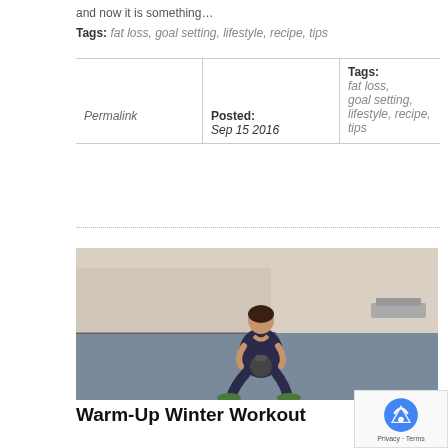and now it is something…
Tags: fat loss, goal setting, lifestyle, recipe, tips
| Permalink | Posted:
Sep 15 2016 | Tags:
fat loss,
goal setting,
lifestyle, recipe,
tips |
[Figure (photo): Woman doing a kettlebell squat in a gym with blue flooring]
Warm-Up Winter Workout